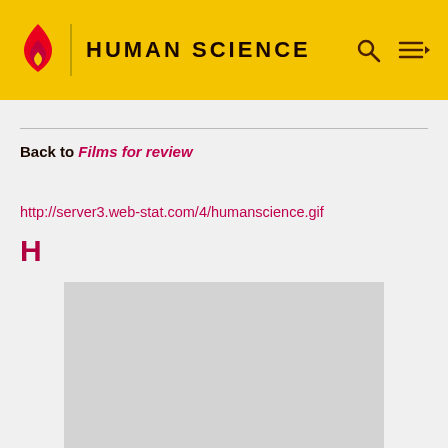HUMAN SCIENCE
Back to Films for review
http://server3.web-stat.com/4/humanscience.gif
H
[Figure (photo): Gray placeholder image block]